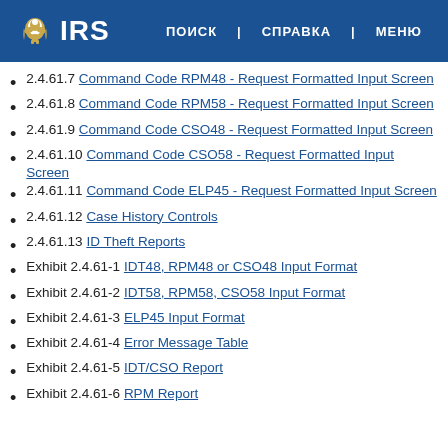IRS | ПОИСК | СПРАВКА | МЕНЮ
2.4.61.7  Command Code RPM48 - Request Formatted Input Screen
2.4.61.8  Command Code RPM58 - Request Formatted Input Screen
2.4.61.9  Command Code CSO48 - Request Formatted Input Screen
2.4.61.10  Command Code CSO58 - Request Formatted Input Screen
2.4.61.11  Command Code ELP45 - Request Formatted Input Screen
2.4.61.12  Case History Controls
2.4.61.13  ID Theft Reports
Exhibit 2.4.61-1  IDT48, RPM48 or CSO48 Input Format
Exhibit 2.4.61-2  IDT58, RPM58, CSO58 Input Format
Exhibit 2.4.61-3  ELP45 Input Format
Exhibit 2.4.61-4  Error Message Table
Exhibit 2.4.61-5  IDT/CSO Report
Exhibit 2.4.61-6  RPM Report